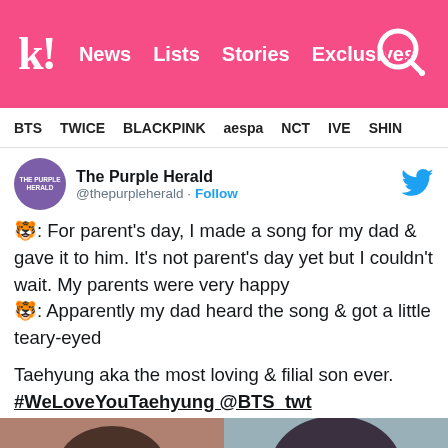k! News Lists Stories Exclusives
BTS TWICE BLACKPINK aespa NCT IVE SHINE
The Purple Herald @thepurpleherald · Follow
🐯: For parent's day, I made a song for my dad & gave it to him. It's not parent's day yet but I couldn't wait. My parents were very happy
🐯: Apparently my dad heard the song & got a little teary-eyed
Taehyung aka the most loving & filial son ever.
#WeLoveYouTaehyung @BTS_twt
[Figure (photo): Two photos of a person with dark hair, the left showing them from the side/back and the right showing the back of their head]